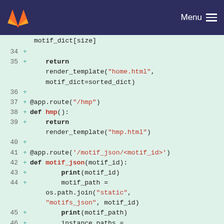GitLab Menu
[Figure (screenshot): GitLab code diff viewer showing Python Flask route definitions, lines 34-46, with added lines marked by '+' on a light green background. Code includes return render_template calls, @app.route decorators, and function definitions for hmp and motif_json.]